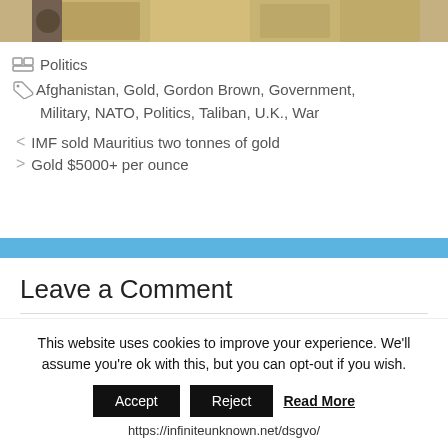[Figure (photo): Partial view of bundled goods/drugs at top of page]
Politics
Afghanistan, Gold, Gordon Brown, Government, Military, NATO, Politics, Taliban, U.K., War
< IMF sold Mauritius two tonnes of gold
> Gold $5000+ per ounce
Leave a Comment
This website uses cookies to improve your experience. We'll assume you're ok with this, but you can opt-out if you wish.
Accept  Reject  Read More
https://infiniteunknown.net/dsgvo/